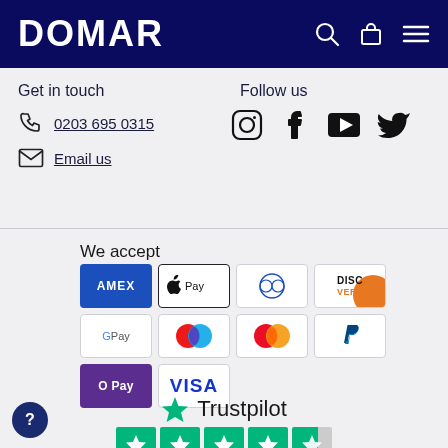DOMAR
Get in touch
0203 695 0315
Email us
Follow us
[Figure (other): Social media icons: Instagram, Facebook, YouTube, Twitter]
We accept
[Figure (other): Payment method badges: Amex, Apple Pay, Diners Club, Discover, Google Pay, Maestro, Mastercard, PayPal, O Pay, Visa]
[Figure (logo): Trustpilot logo with green star and rating stars (4 full + 1 partial)]